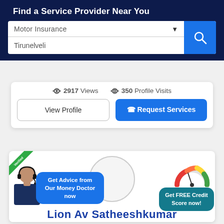Find a Service Provider Near You
Motor Insurance
Tirunelveli
2917 Views   350 Profile Visits
View Profile
Request Services
[Figure (screenshot): Profile card with avatar circle, verified ribbon, agent photo, credit score gauge, and name 'Lion Av Satheeshkumar']
Get Advice from Our Money Doctor now
Get FREE Credit Score now!
Lion Av Satheeshkumar